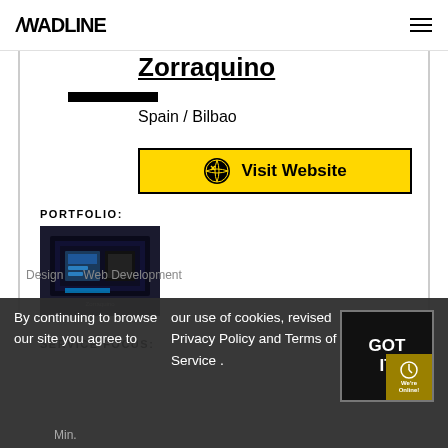/WADLINE (hamburger menu icon)
Zorraquino
Spain / Bilbao
Visit Website
PORTFOLIO:
[Figure (photo): Portfolio thumbnail showing a dark screen/display in what appears to be a retail or exhibition space]
SERVICE FOCUS:
Design
Web Development
By continuing to browse our site you agree to
our use of cookies, revised Privacy Policy and Terms of Service
GOT IT
Min.